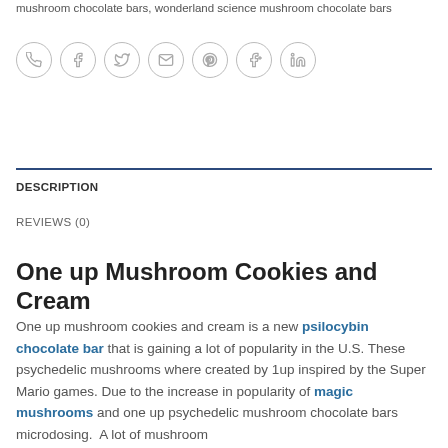mushroom chocolate bars, wonderland science mushroom chocolate bars
[Figure (other): Row of 7 social sharing icon circles: phone, facebook, twitter, email, pinterest, google+, linkedin]
DESCRIPTION
REVIEWS (0)
One up Mushroom Cookies and Cream
One up mushroom cookies and cream is a new psilocybin chocolate bar that is gaining a lot of popularity in the U.S. These psychedelic mushrooms where created by 1up inspired by the Super Mario games. Due to the increase in popularity of magic mushrooms and one up psychedelic mushroom chocolate bars microdosing.  A lot of mushroom